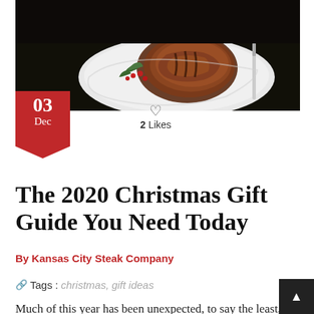[Figure (photo): Hero image of a cooked steak filet on a white plate with greens and red berries, on a dark background]
03
Dec
2 Likes
The 2020 Christmas Gift Guide You Need Today
By Kansas City Steak Company
Tags : christmas, gift ideas
Much of this year has been unexpected, to say the least, but we can always count on the holidays to bring that sense of comfort and joyous memories